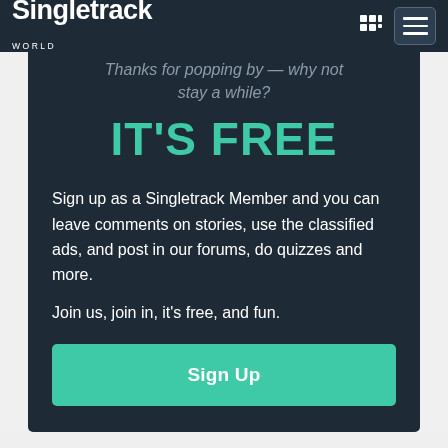Singletrack World
Thanks for popping by — why not stay a while?
IT'S FREE
Sign up as a Singletrack Member and you can leave comments on stories, use the classified ads, and post in our forums, do quizzes and more.

Join us, join in, it's free, and fun.
Sign Up